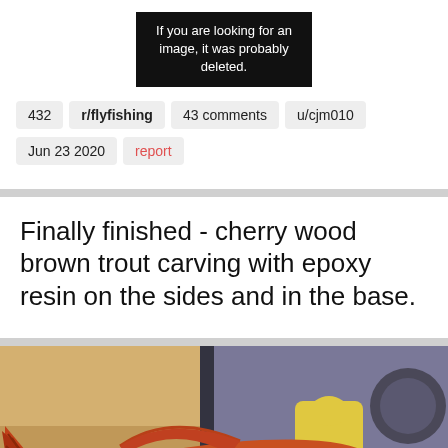[Figure (other): Black box placeholder: 'If you are looking for an image, it was probably deleted.']
432
r/flyfishing
43 comments
u/cjm010
Jun 23 2020
report
Finally finished - cherry wood brown trout carving with epoxy resin on the sides and in the base.
[Figure (photo): Photo of a cherry wood brown trout carving with epoxy resin, shown on a workbench with wooden background. The fish carving has orange-brown coloring with blue-grey belly and dark spots.]